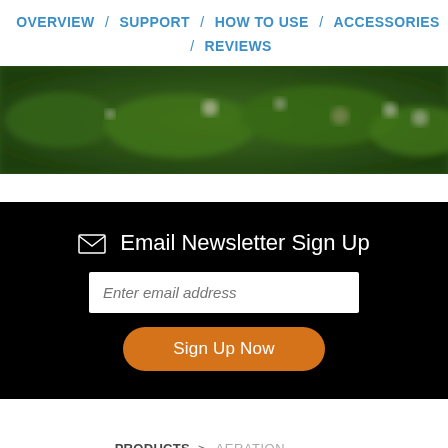OVERVIEW / SUPPORT / HOW TO USE / ACCESSORIES / REVIEWS
[Figure (photo): Blurred nature photo showing green lily pads or leaves with white droplets/flowers, top view from close distance]
Email Newsletter Sign Up
Enter email address
Sign Up Now
PRODUCTS > AERATION ALGAE CONTROL POND CLEANERS